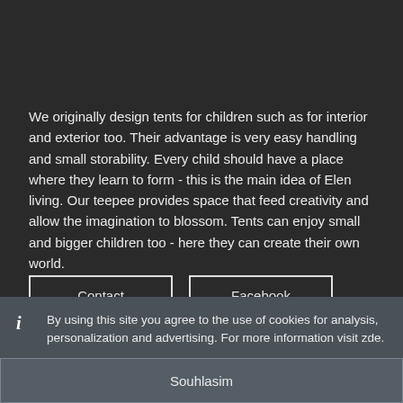We originally design tents for children such as for interior and exterior too. Their advantage is very easy handling and small storability. Every child should have a place where they learn to form - this is the main idea of Elen living. Our teepee provides space that feed creativity and allow the imagination to blossom. Tents can enjoy small and bigger children too - here they can create their own world.
Contact
Facebook
By using this site you agree to the use of cookies for analysis, personalization and advertising. For more information visit zde.
Souhlasim